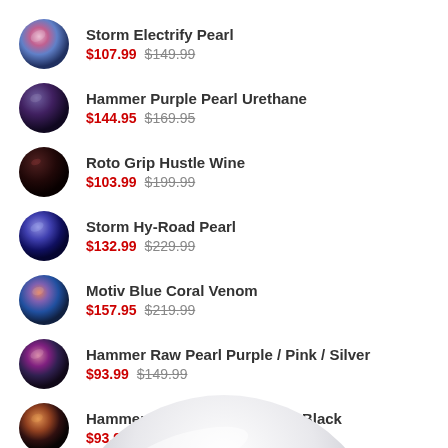Storm Electrify Pearl $107.99 $149.99
Hammer Purple Pearl Urethane $144.95 $169.95
Roto Grip Hustle Wine $103.99 $199.99
Storm Hy-Road Pearl $132.99 $229.99
Motiv Blue Coral Venom $157.95 $219.99
Hammer Raw Pearl Purple / Pink / Silver $93.99 $149.99
Hammer Raw Hybrid Orange / Black $93.99 $149.99
[Figure (illustration): Bottom portion of a silver/white bowling ball visible at bottom of page]